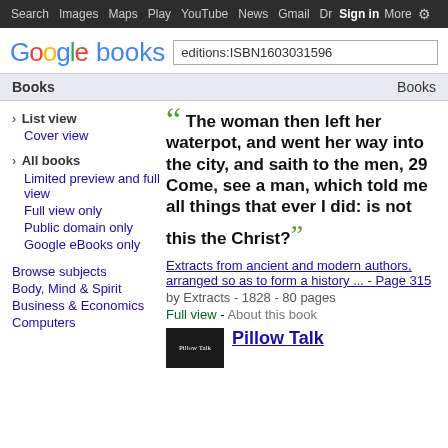Search  Images  Maps  Play  YouTube  News  Gmail  Drive  More  Sign in  [gear]
[Figure (logo): Google books logo with search box containing 'editions:ISBN1603031596']
Books   Books
› List view
Cover view
› All books
Limited preview and full view
Full view only
Public domain only
Google eBooks only
Browse subjects
Body, Mind & Spirit
Business & Economics
Computers
"The woman then left her waterpot, and went her way into the city, and saith to the men, 29 Come, see a man, which told me all things that ever I did: is not this the Christ?"
Extracts from ancient and modern authors, arranged so as to form a history ... - Page 315
by Extracts - 1828 - 80 pages
Full view - About this book
Pillow Talk